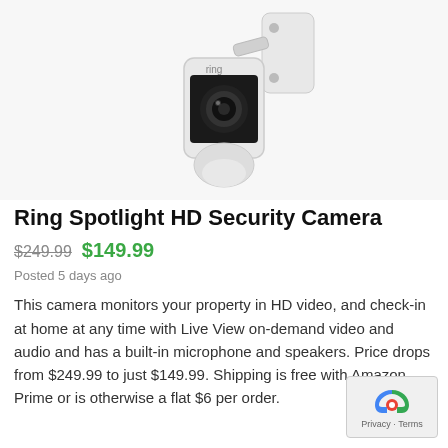[Figure (photo): Ring Spotlight HD Security Camera product photo - white camera with mounting bracket on white background]
Ring Spotlight HD Security Camera
$249.99 $149.99
Posted 5 days ago
This camera monitors your property in HD video, and check-in at home at any time with Live View on-demand video and audio and has a built-in microphone and speakers. Price drops from $249.99 to just $149.99. Shipping is free with Amazon Prime or is otherwise a flat $6 per order.